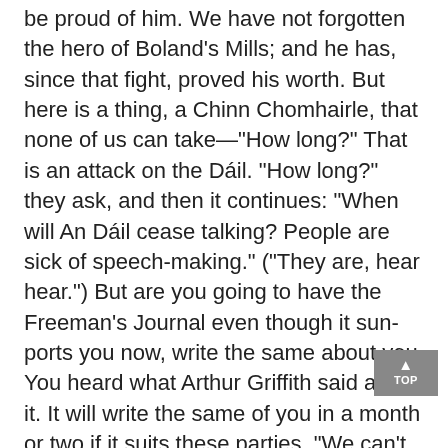be proud of him. We have not forgotten the hero of Boland's Mills; and he has, since that fight, proved his worth. But here is a thing, a Chinn Chomhairle, that none of us can take—"How long?" That is an attack on the Dáil. "How long?" they ask, and then it continues: "When will An Dáil cease talking? People are sick of speech-making." ("They are, hear hear.") But are you going to have the Freeman's Journal even though it supports you now, write the same about you. You heard what Arthur Griffith said about it. It will write the same of you in a month or two if it suits these parties. "We can't continue," it says, "to weary our readers with such futile iteration. If anything new is said we shall be careful to report it, but otherwise we must exercise journalistic discretion in our treatment of the speeches." I know something of what the representative of a paper feels; I pity them; I have great sympathy with them. Just like the lawyers have to speak to order in Court, the poor journalist, the representative of the Press, must write to order; it is a matter of bread and butter for them. But if you want to get at the men who control the paper—and I